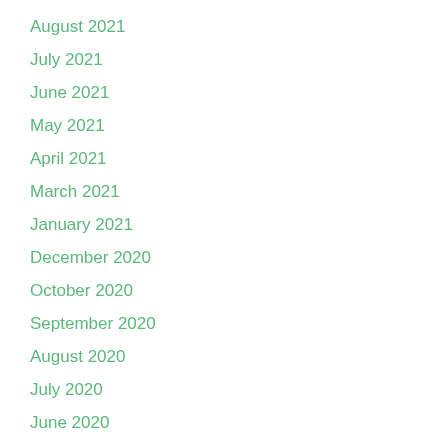August 2021
July 2021
June 2021
May 2021
April 2021
March 2021
January 2021
December 2020
October 2020
September 2020
August 2020
July 2020
June 2020
May 2020
April 2020
March 2020
February 2020
January 2020